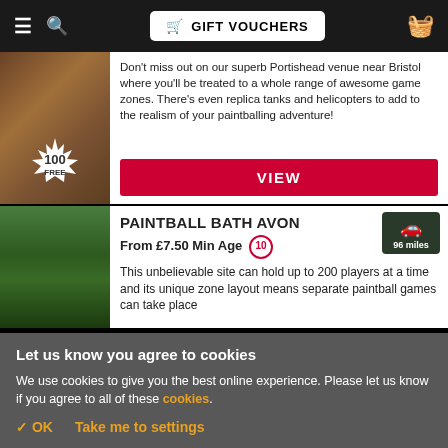[Figure (screenshot): Website navigation bar with hamburger menu, search icon, GIFT VOUCHERS button with cart icon, and basket icon on dark background]
Don't miss out on our superb Portishead venue near Bristol where you'll be treated to a whole range of awesome game zones. There's even replica tanks and helicopters to add to the realism of your paintballing adventure!
VIEW
PAINTBALL BATH AVON
From £7.50 Min Age 10
This unbelievable site can hold up to 200 players at a time and its unique zone layout means separate paintball games can take place
Let us know you agree to cookies
We use cookies to give you the best online experience. Please let us know if you agree to all of these cookies.
✓ OK
Take me to settings